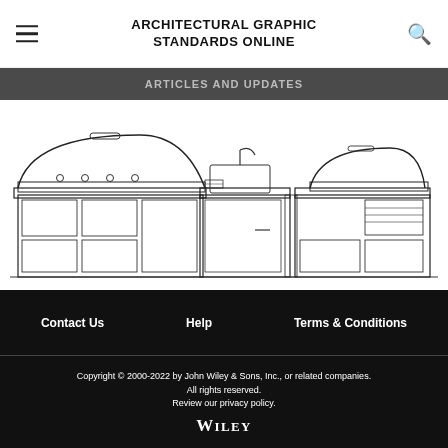ARCHITECTURAL GRAPHIC STANDARDS ONLINE
ARTICLES AND UPDATES
[Figure (illustration): Line drawing of an outdoor kitchen setup with a large grill on the left, a corner sink unit in the center, and a smaller oven/grill unit on the right, all in a technical architectural illustration style.]
Contact Us   Help   Terms & Conditions
Copyright © 2000-2022 by John Wiley & Sons, Inc., or related companies. All rights reserved. Review our privacy policy. WILEY